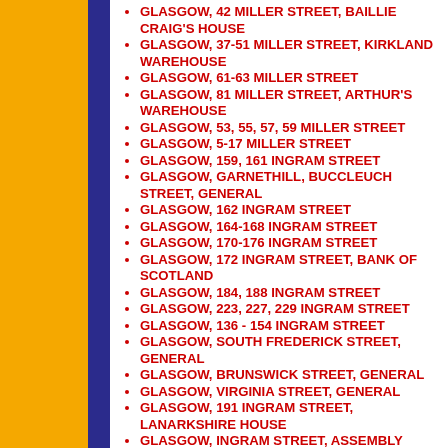GLASGOW, 42 MILLER STREET, BAILLIE CRAIG'S HOUSE
GLASGOW, 37-51 MILLER STREET, KIRKLAND WAREHOUSE
GLASGOW, 61-63 MILLER STREET
GLASGOW, 81 MILLER STREET, ARTHUR'S WAREHOUSE
GLASGOW, 53, 55, 57, 59 MILLER STREET
GLASGOW, 5-17 MILLER STREET
GLASGOW, 159, 161 INGRAM STREET
GLASGOW, GARNETHILL, BUCCLEUCH STREET, GENERAL
GLASGOW, 162 INGRAM STREET
GLASGOW, 164-168 INGRAM STREET
GLASGOW, 170-176 INGRAM STREET
GLASGOW, 172 INGRAM STREET, BANK OF SCOTLAND
GLASGOW, 184, 188 INGRAM STREET
GLASGOW, 223, 227, 229 INGRAM STREET
GLASGOW, 136 - 154 INGRAM STREET
GLASGOW, SOUTH FREDERICK STREET, GENERAL
GLASGOW, BRUNSWICK STREET, GENERAL
GLASGOW, VIRGINIA STREET, GENERAL
GLASGOW, 191 INGRAM STREET, LANARKSHIRE HOUSE
GLASGOW, INGRAM STREET, ASSEMBLY ROOMS
GLASGOW, 158 INGRAM STREET, HUTCHESONS' HALL